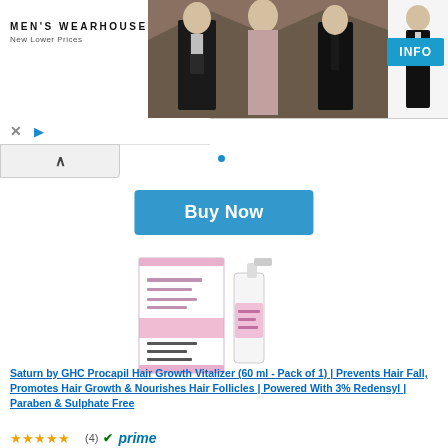[Figure (screenshot): Men's Wearhouse advertisement banner with couple in formal wear and man in tuxedo, with INFO button]
[Figure (screenshot): Ad controls bar with X close and play button icons]
[Figure (screenshot): Collapse/caret-up button area]
[Figure (photo): Buy Now button in blue]
[Figure (photo): Saturn by GHC Procapil Hair Growth Vitalizer product image - white and pink box with spray bottle]
Saturn by GHC Procapil Hair Growth Vitalizer (60 ml - Pack of 1) | Prevents Hair Fall, Promotes Hair Growth & Nourishes Hair Follicles | Powered With 3% Redensyl | Paraben & Sulphate Free
★★★★★ (4) ✓prime